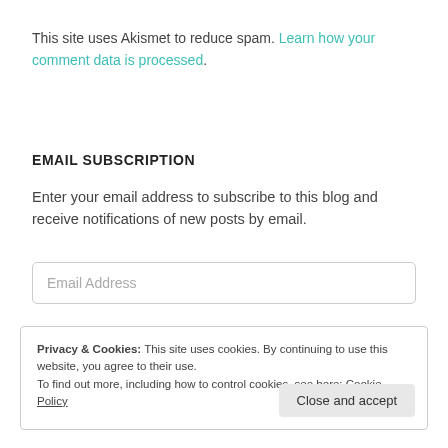This site uses Akismet to reduce spam. Learn how your comment data is processed.
EMAIL SUBSCRIPTION
Enter your email address to subscribe to this blog and receive notifications of new posts by email.
Email Address
Privacy & Cookies: This site uses cookies. By continuing to use this website, you agree to their use.
To find out more, including how to control cookies, see here: Cookie Policy
Close and accept